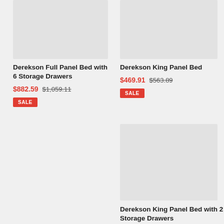[Figure (photo): Product image placeholder for Derekson Full Panel Bed with 6 Storage Drawers]
Derekson Full Panel Bed with 6 Storage Drawers
$882.59  $1,059.11
SALE
[Figure (photo): Product image placeholder for Derekson King Panel Bed]
Derekson King Panel Bed
$469.91  $563.89
SALE
[Figure (photo): Product image placeholder for Derekson King Panel Bed with 2 Storage Drawers]
Derekson King Panel Bed with 2 Storage Drawers
$684.41  $821.30